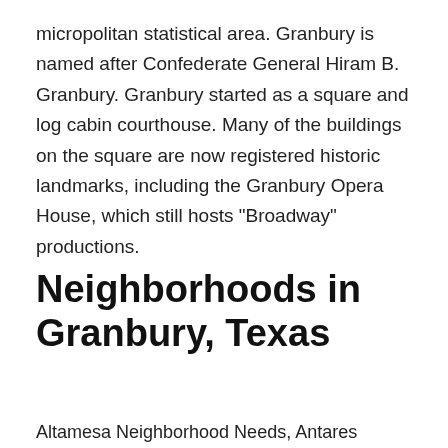micropolitan statistical area. Granbury is named after Confederate General Hiram B. Granbury. Granbury started as a square and log cabin courthouse. Many of the buildings on the square are now registered historic landmarks, including the Granbury Opera House, which still hosts "Broadway" productions.
Neighborhoods in Granbury, Texas
Altamesa Neighborhood Needs, Antares Homes - Harbor Lakes, Arlington Heights,